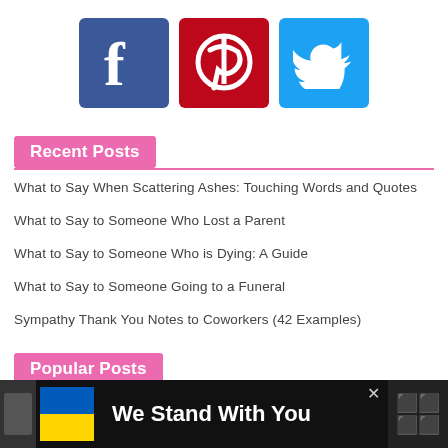[Figure (logo): Social media icons: Facebook (blue), Pinterest (red), Twitter (light blue)]
Recent Posts
What to Say When Scattering Ashes: Touching Words and Quotes
What to Say to Someone Who Lost a Parent
What to Say to Someone Who is Dying: A Guide
What to Say to Someone Going to a Funeral
Sympathy Thank You Notes to Coworkers (42 Examples)
Popular Posts
[Figure (infographic): Advertisement banner: Ukraine flag beside text 'We Stand With You' with close button and app icon on right]